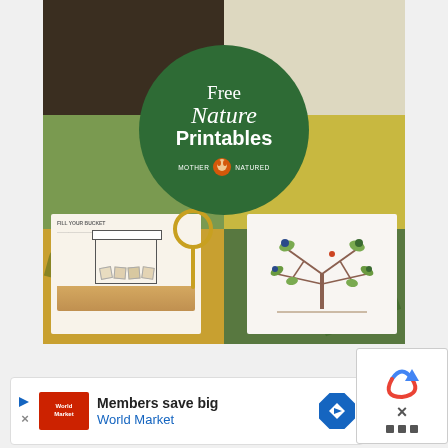[Figure (photo): Collage image showing nature printables and craft activities. A large green circle overlay in the center reads 'Free Nature Printables' with a Mother Natured logo. The collage background shows nature-themed educational printable worksheets, wooden spoons, seeds, ferns, and craft materials.]
Members save big
World Market